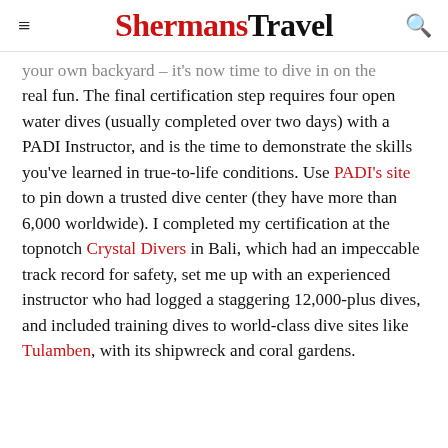ShermansTravel
your own backyard – it's now time to dive in on the real fun. The final certification step requires four open water dives (usually completed over two days) with a PADI Instructor, and is the time to demonstrate the skills you've learned in true-to-life conditions. Use PADI's site to pin down a trusted dive center (they have more than 6,000 worldwide). I completed my certification at the topnotch Crystal Divers in Bali, which had an impeccable track record for safety, set me up with an experienced instructor who had logged a staggering 12,000-plus dives, and included training dives to world-class dive sites like Tulamben, with its shipwreck and coral gardens.